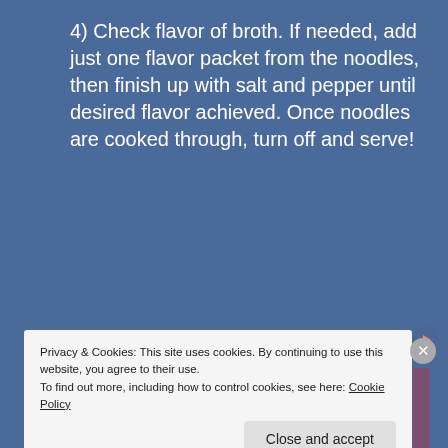4) Check flavor of broth. If needed, add just one flavor packet from the noodles, then finish up with salt and pepper until desired flavor achieved. Once noodles are cooked through, turn off and serve!
Sponsored Content
[Figure (photo): A smiling young woman with curly hair, wearing a blue medical top, seated next to an elderly person with gray hair. Purple curtain and window in the background.]
Privacy & Cookies: This site uses cookies. By continuing to use this website, you agree to their use.
To find out more, including how to control cookies, see here: Cookie Policy
Close and accept